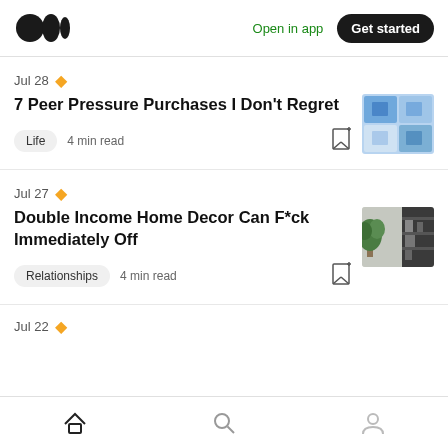Medium logo | Open in app | Get started
Jul 28 ★
7 Peer Pressure Purchases I Don't Regret
Life  4 min read
Jul 27 ★
Double Income Home Decor Can F*ck Immediately Off
Relationships  4 min read
Jul 22 ★